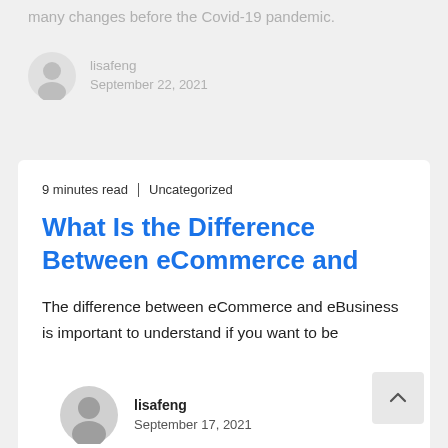many changes before the Covid-19 pandemic.
lisafeng
September 22, 2021
9 minutes read | Uncategorized
What Is the Difference Between eCommerce and
The difference between eCommerce and eBusiness is important to understand if you want to be
lisafeng
September 17, 2021